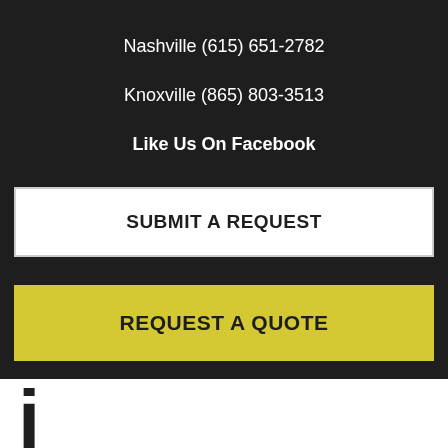Nashville (615) 651-2782
Knoxville (865) 803-3513
Like Us On Facebook
SUBMIT A REQUEST
REQUEST A QUOTE
j
If you are up for the task, changing your own oil is not difficult. Check your owner’s manual to ensure you purchase the right type and quantity of oil. Your car will